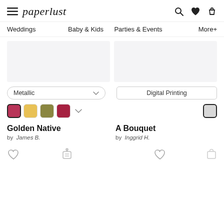paperlust — Weddings | Baby & Kids | Parties & Events | More+
[Figure (screenshot): Two product image placeholder rectangles side by side (light gray backgrounds)]
Metallic ∨
Digital Printing
[Figure (infographic): Color swatches: rose (selected), gold, olive, crimson with chevron for Golden Native; light gray (selected) for A Bouquet]
Golden Native
by James B.
A Bouquet
by Inggrid H.
[Figure (illustration): Heart outline icon (favourite) under Golden Native; compare icon in centre; heart outline icon under A Bouquet; small cart/box icon bottom right]